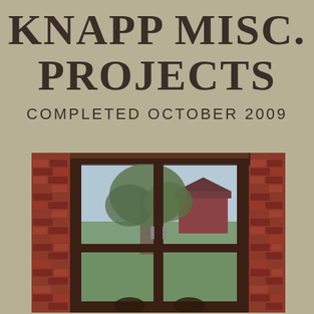KNAPP MISC. PROJECTS
COMPLETED OCTOBER 2009
[Figure (photo): Photograph of a dark brown/mahogany framed sliding glass door set within a red brick wall, viewed from outside. Through the glass panes, a large oak tree is visible along with a red barn in the background and green grass.]